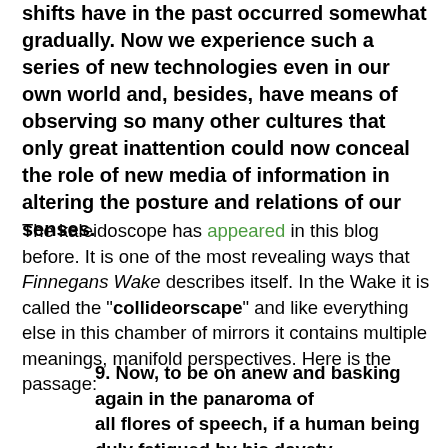shifts have in the past occurred somewhat gradually. Now we experience such a series of new technologies even in our own world and, besides, have means of observing so many other cultures that only great inattention could now conceal the role of new media of information in altering the posture and relations of our senses.
The kaleidoscope has appeared in this blog before. It is one of the most revealing ways that Finnegans Wake describes itself. In the Wake it is called the "collideorscape" and like everything else in this chamber of mirrors it contains multiple meanings, manifold perspectives. Here is the passage:
9. Now, to be on anew and basking again in the panaroma of all flores of speech, if a human being duly fatigued by his dayety in the sooty, having plenxty off time on his gouty hands and ya-